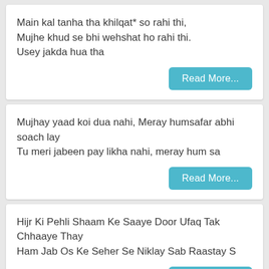Main kal tanha tha khilqat* so rahi thi,
Mujhe khud se bhi wehshat ho rahi thi.
Usey jakda hua tha
Read More...
Mujhay yaad koi dua nahi, Meray humsafar abhi soach lay
Tu meri jabeen pay likha nahi, meray hum sa
Read More...
Hijr Ki Pehli Shaam Ke Saaye Door Ufaq Tak Chhaaye Thay
Ham Jab Os Ke Seher Se Niklay Sab Raastay S
Read More...